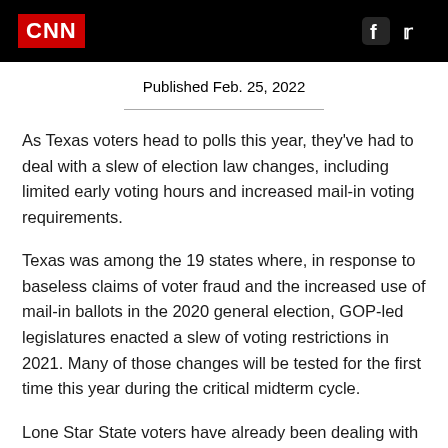CNN
Published Feb. 25, 2022
As Texas voters head to polls this year, they've had to deal with a slew of election law changes, including limited early voting hours and increased mail-in voting requirements.
Texas was among the 19 states where, in response to baseless claims of voter fraud and the increased use of mail-in ballots in the 2020 general election, GOP-led legislatures enacted a slew of voting restrictions in 2021. Many of those changes will be tested for the first time this year during the critical midterm cycle.
Lone Star State voters have already been dealing with